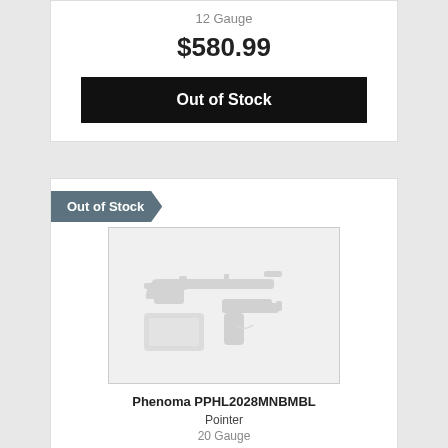12 Gauge
$580.99
Out of Stock
Out of Stock
[Figure (illustration): Placeholder product image showing silhouettes of a rifle, handgun, and box/magazine in light gray on a light gray background]
Phenoma PPHL2028MNBMBL
Pointer
20 Gauge
$888.99